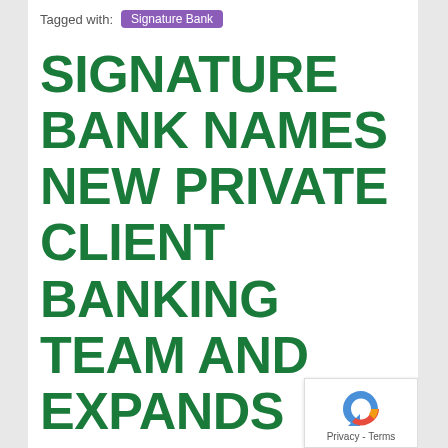Tagged with: Signature Bank
SIGNATURE BANK NAMES NEW PRIVATE CLIENT BANKING TEAM AND EXPANDS EXISTING TEAM WITH APPOINTMENT OF SEASONED PROFESSIONALS IN WESTCHESTER COUNTY, N.Y.